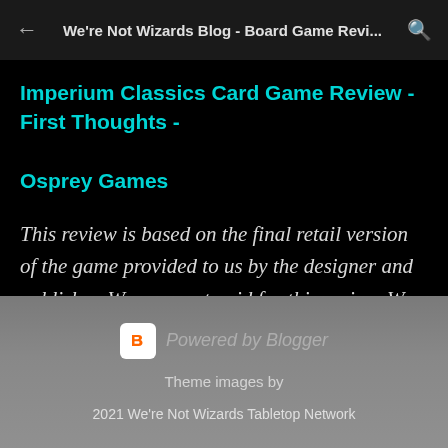We're Not Wizards Blog - Board Game Revi...
Imperium Classics Card Game Review - First Thoughts - Osprey Games
This review is based on the final retail version of the game provided to us by the designer and publisher. We were not paid for this review. We give a general overview of the gameplay and so not all of the mechanical aspe …
Powered by Blogger
Theme images by
2021 We're Not Wizards Tabletop Network